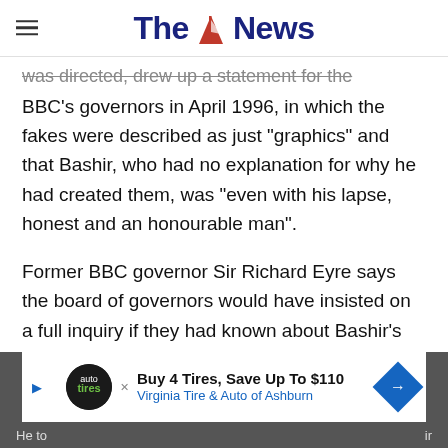The News
was directed, drew up a statement for the BBC's governors in April 1996, in which the fakes were described as just "graphics" and that Bashir, who had no explanation for why he had created them, was "even with his lapse, honest and an honourable man".
Former BBC governor Sir Richard Eyre says the board of governors would have insisted on a full inquiry if they had known about Bashir's actions.
[Figure (other): Advertisement: Buy 4 Tires, Save Up To $110 - Virginia Tire & Auto of Ashburn]
He to...